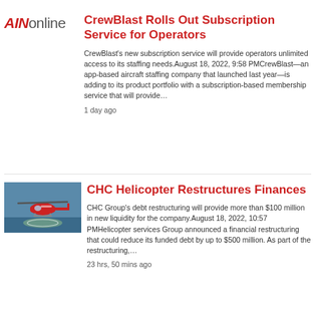AINonline
CrewBlast Rolls Out Subscription Service for Operators
CrewBlast's new subscription service will provide operators unlimited access to its staffing needs.August 18, 2022, 9:58 PMCrewBlast—an app-based aircraft staffing company that launched last year—is adding to its product portfolio with a subscription-based membership service that will provide…
1 day ago
[Figure (photo): A red helicopter on a helipad above water, aerial view]
CHC Helicopter Restructures Finances
CHC Group's debt restructuring will provide more than $100 million in new liquidity for the company.August 18, 2022, 10:57 PMHelicopter services Group announced a financial restructuring that could reduce its funded debt by up to $500 million. As part of the restructuring,…
23 hrs, 50 mins ago